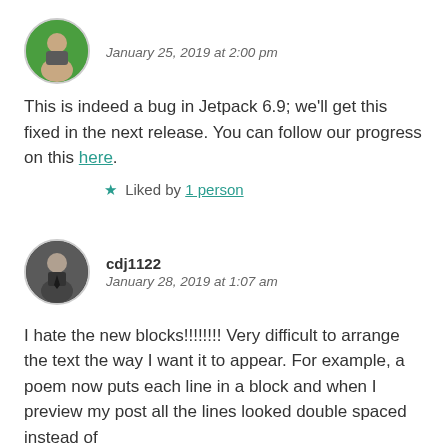January 25, 2019 at 2:00 pm
This is indeed a bug in Jetpack 6.9; we'll get this fixed in the next release. You can follow our progress on this here.
★ Liked by 1 person
cdj1122
January 28, 2019 at 1:07 am
I hate the new blocks!!!!!!!! Very difficult to arrange the text the way I want it to appear. For example, a poem now puts each line in a block and when I preview my post all the lines looked double spaced instead of